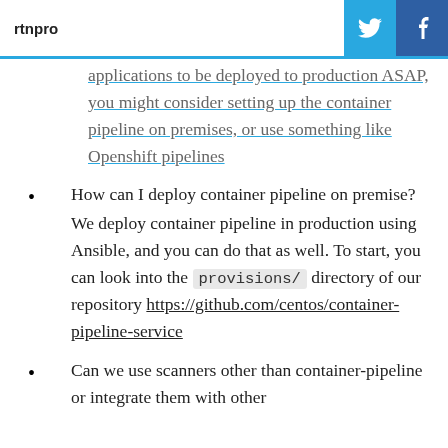rtnpro
applications to be deployed to production ASAP, you might consider setting up the container pipeline on premises, or use something like Openshift pipelines
How can I deploy container pipeline on premise? We deploy container pipeline in production using Ansible, and you can do that as well. To start, you can look into the provisions/ directory of our repository https://github.com/centos/container-pipeline-service
Can we use scanners other than container-pipeline or integrate them with other